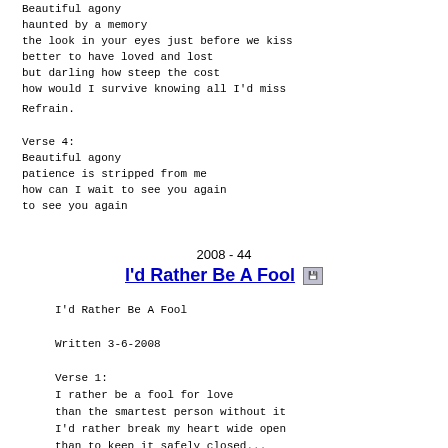Beautiful agony
haunted by a memory
the look in your eyes just before we kiss
better to have loved and lost
but darling how steep the cost
how would I survive knowing all I'd miss
Refrain.
Verse 4:
Beautiful agony
patience is stripped from me
how can I wait to see you again
to see you again
2008 - 44
I'd Rather Be A Fool
I'd Rather Be A Fool

Written 3-6-2008

Verse 1:
I rather be a fool for love
than the smartest person without it
I'd rather break my heart wide open
than to keep it safely closed...